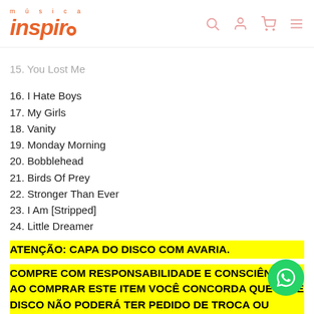Música Inspira
15. You Lost Me
16. I Hate Boys
17. My Girls
18. Vanity
19. Monday Morning
20. Bobblehead
21. Birds Of Prey
22. Stronger Than Ever
23. I Am [Stripped]
24. Little Dreamer
ATENÇÃO: CAPA DO DISCO COM AVARIA.
COMPRE COM RESPONSABILIDADE E CONSCIÊNCIA. AO COMPRAR ESTE ITEM VOCÊ CONCORDA QUE ESTE DISCO NÃO PODERÁ TER PEDIDO DE TROCA OU DEVOLUÇÃO. NÃO SERÃO ACEITAS EVENTUAIS RECLAMAÇÕES.
TEMOS EM ESTOQUE ALGUNS DISCOS "BIONIC"